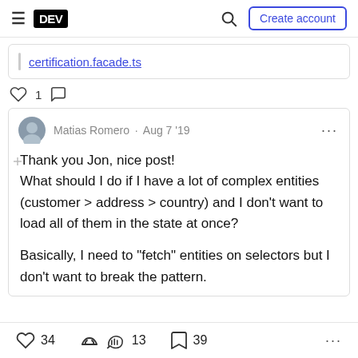DEV  Create account
certification.facade.ts
1
Matias Romero · Aug 7 '19
Thank you Jon, nice post! What should I do if I have a lot of complex entities (customer > address > country) and I don't want to load all of them in the state at once?

Basically, I need to "fetch" entities on selectors but I don't want to break the pattern.
34  13  39